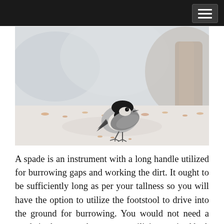[Figure (photo): A small chickadee bird with a black cap and white/grey plumage, standing on a snowy surface scattered with seeds. A blurred tree trunk is visible in the background.]
A spade is an instrument with a long handle utilized for burrowing gaps and working the dirt. It ought to be sufficiently long as per your tallness so you will have the option to utilize the footstool to drive into the ground for burrowing. You would not need a spade in the event that you are utilizing a raised bed